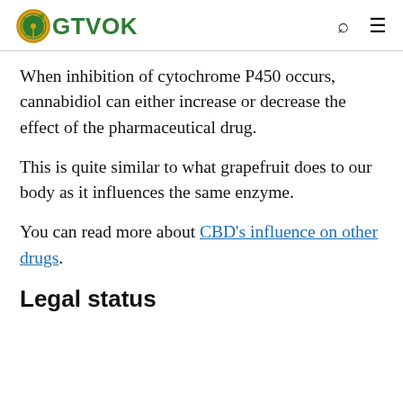GTVOK
When inhibition of cytochrome P450 occurs, cannabidiol can either increase or decrease the effect of the pharmaceutical drug.
This is quite similar to what grapefruit does to our body as it influences the same enzyme.
You can read more about CBD's influence on other drugs.
Legal status